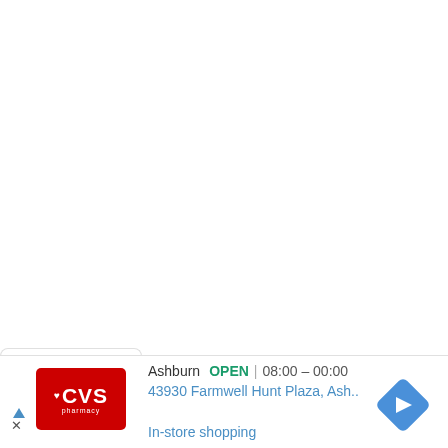[Figure (screenshot): Screenshot of a Google Maps or similar map interface showing a mostly white/blank map area in the upper portion.]
Ashburn  OPEN | 08:00 – 00:00
43930 Farmwell Hunt Plaza, Ash..
[Figure (logo): CVS Pharmacy logo — red square background with heart symbol and CVS text in white, 'pharmacy' in smaller white text below.]
[Figure (other): Blue diamond-shaped navigation/directions arrow icon pointing right.]
In-store shopping